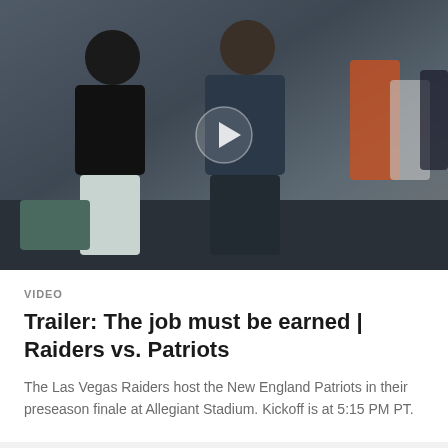[Figure (photo): Two NFL coaches talking on a practice field with players visible in the background, with a play button overlay in the center]
VIDEO
Trailer: The job must be earned | Raiders vs. Patriots
The Las Vegas Raiders host the New England Patriots in their preseason finale at Allegiant Stadium. Kickoff is at 5:15 PM PT.
[Figure (photo): Interior stadium/arena scene with figures visible, partially cropped at bottom of page]